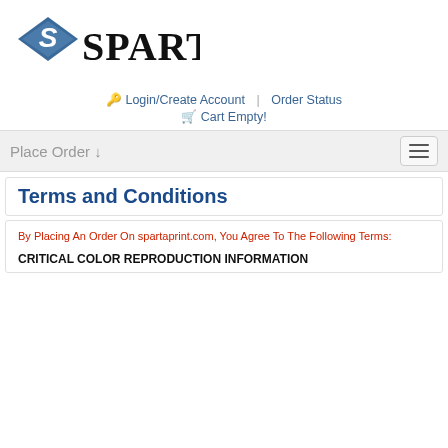[Figure (logo): Sparta logo with blue diamond shape and SPARTA text in bold serif font]
🔑 Login/Create Account | Order Status
🛒 Cart Empty!
Place Order ↓
Terms and Conditions
By Placing An Order On spartaprint.com, You Agree To The Following Terms:
CRITICAL COLOR REPRODUCTION INFORMATION